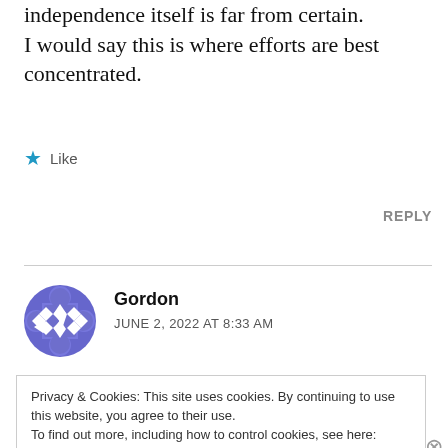independence itself is far from certain. I would say this is where efforts are best concentrated.
★ Like
REPLY
Gordon
JUNE 2, 2022 AT 8:33 AM
Privacy & Cookies: This site uses cookies. By continuing to use this website, you agree to their use.
To find out more, including how to control cookies, see here:
Cookie Policy
Close and accept